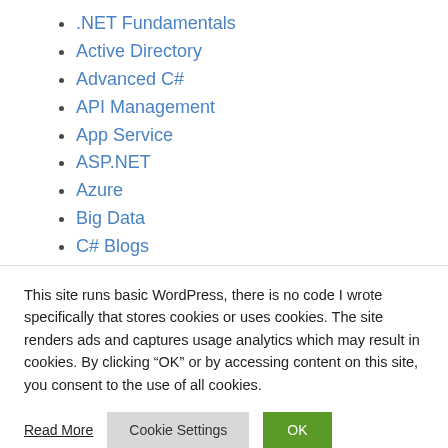.NET Fundamentals
Active Directory
Advanced C#
API Management
App Service
ASP.NET
Azure
Big Data
C# Blogs
This site runs basic WordPress, there is no code I wrote specifically that stores cookies or uses cookies. The site renders ads and captures usage analytics which may result in cookies. By clicking “OK” or by accessing content on this site, you consent to the use of all cookies.
Read More | Cookie Settings | OK